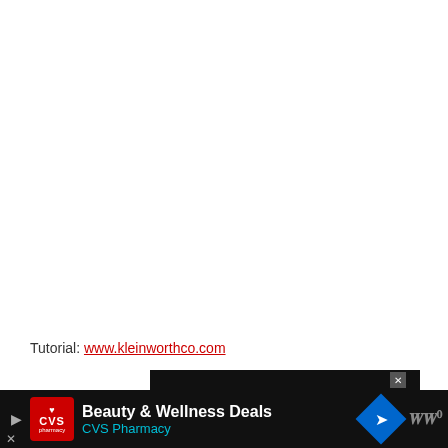Tutorial: www.kleinworthco.com
[Figure (screenshot): CVS Pharmacy advertisement banner: 'Beauty & Wellness Deals - CVS Pharmacy' with navigation arrow icon and WW logo on dark background]